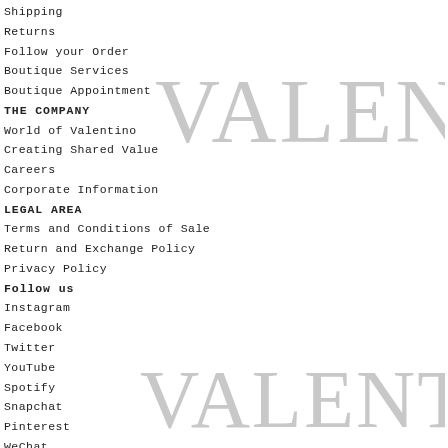[Figure (logo): VALENTINO brand logo in large light gray serif letters, top right area]
Shipping
Returns
Follow your Order
Boutique Services
Boutique Appointment
THE COMPANY
World of Valentino
Creating Shared Value
Careers
Corporate Information
LEGAL AREA
Terms and Conditions of Sale
Return and Exchange Policy
Privacy Policy
Follow us
Instagram
Facebook
Twitter
YouTube
Spotify
Snapchat
Pinterest
WeChat
Weibo
[Figure (logo): VALENTINO brand logo in large light gray serif letters, bottom right area]